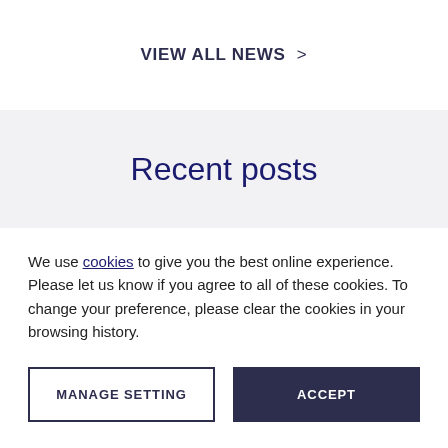VIEW ALL NEWS >
Recent posts
We use cookies to give you the best online experience. Please let us know if you agree to all of these cookies. To change your preference, please clear the cookies in your browsing history.
MANAGE SETTING
ACCEPT